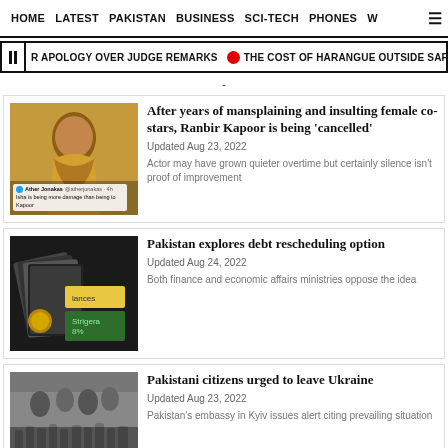HOME  LATEST  PAKISTAN  BUSINESS  SCI-TECH  PHONES  W ☰
R APOLOGY OVER JUDGE REMARKS  •  THE COST OF HARANGUE OUTSIDE SAFE CO...
-
[Figure (photo): Photo of Ranbir Kapoor with a tweet overlay]
After years of mansplaining and insulting female co-stars, Ranbir Kapoor is being 'cancelled'
Updated Aug 23, 2022
Actor may have grown quieter overtime but certainly silence isn't proof of improvement
[Figure (photo): Photo of calculator and coins related to Pakistan debt]
Pakistan explores debt rescheduling option
Updated Aug 24, 2022
Both finance and economic affairs ministries oppose the idea
[Figure (photo): Photo of crowd of people at Ukrainian border]
Pakistani citizens urged to leave Ukraine
Updated Aug 23, 2022
Pakistan's embassy in Kyiv issues alert citing prevailing situation